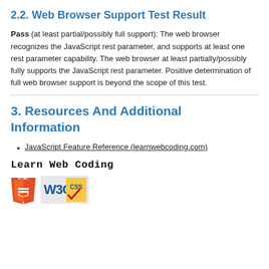2.2. Web Browser Support Test Result
Pass (at least partial/possibly full support): The web browser recognizes the JavaScript rest parameter, and supports at least one rest parameter capability. The web browser at least partially/possibly fully supports the JavaScript rest parameter. Positive determination of full web browser support is beyond the scope of this test.
3. Resources And Additional Information
JavaScript Feature Reference (learnwebcoding.com)
Learn Web Coding
[Figure (logo): HTML5 shield logo and W3C CSS badge logos]